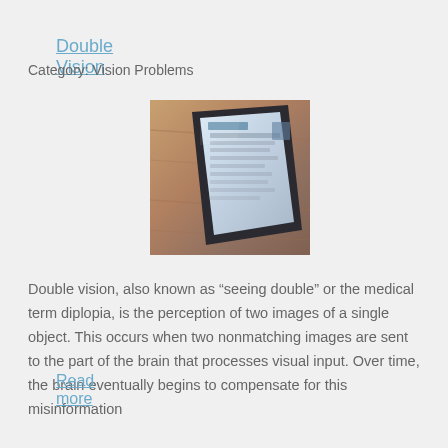Double Vision
Category: Vision Problems
[Figure (photo): Photo of a tablet device displaying a social media or news website, placed on a wooden surface, viewed at an angle.]
Double vision, also known as “seeing double” or the medical term diplopia, is the perception of two images of a single object. This occurs when two nonmatching images are sent to the part of the brain that processes visual input. Over time, the brain eventually begins to compensate for this misinformation
Read more